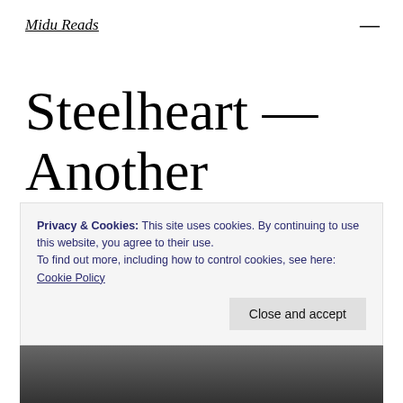Midu Reads
Steelheart — Another Unimpressive Read
Privacy & Cookies: This site uses cookies. By continuing to use this website, you agree to their use.
To find out more, including how to control cookies, see here: Cookie Policy
Close and accept
[Figure (photo): Bottom portion of a photo, dark tones, partially visible]